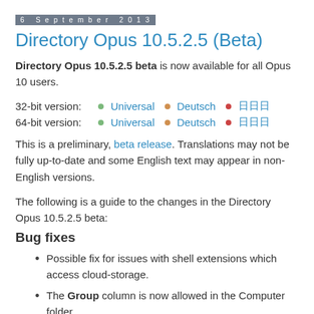6 September 2013
Directory Opus 10.5.2.5 (Beta)
Directory Opus 10.5.2.5 beta is now available for all Opus 10 users.
32-bit version: Universal · Deutsch · [Japanese]
64-bit version: Universal · Deutsch · [Japanese]
This is a preliminary, beta release. Translations may not be fully up-to-date and some English text may appear in non-English versions.
The following is a guide to the changes in the Directory Opus 10.5.2.5 beta:
Bug fixes
Possible fix for issues with shell extensions which access cloud-storage.
The Group column is now allowed in the Computer folder.